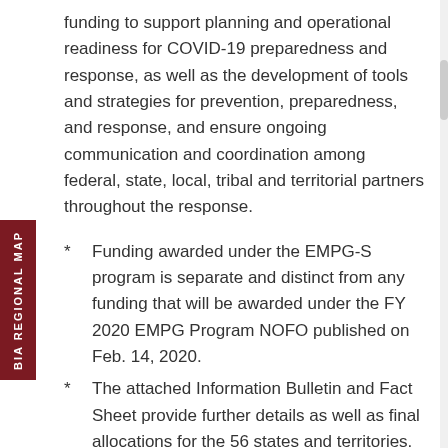funding to support planning and operational readiness for COVID-19 preparedness and response, as well as the development of tools and strategies for prevention, preparedness, and response, and ensure ongoing communication and coordination among federal, state, local, tribal and territorial partners throughout the response.
*        Funding awarded under the EMPG-S program is separate and distinct from any funding that will be awarded under the FY 2020 EMPG Program NOFO published on Feb. 14, 2020.
*        The attached Information Bulletin and Fact Sheet provide further details as well as final allocations for the 56 states and territories.
Grant Programs Directorate Information Bulletin